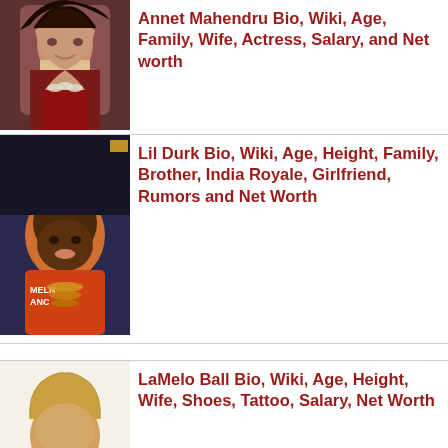[Figure (photo): Photo of Annet Mahendru, a woman with dark hair wearing a red top and pearl necklace]
Annet Mahendru Bio, Wiki, Age, Family, Wife, Actress, Salary, and Net worth
[Figure (photo): Photo of Lil Durk, a man with blonde dreadlocks wearing an orange shirt with gold necklaces]
Lil Durk Bio, Wiki, Age, Height, Family, Brother, India Royale, Girlfriend, Rumors and Net Worth
[Figure (photo): Photo of LaMelo Ball, a young man with curly blonde hair wearing a green top]
LaMelo Ball Bio, Wiki, Age, Height, Wife, Shoes, Tattoo, Salary, Net Worth